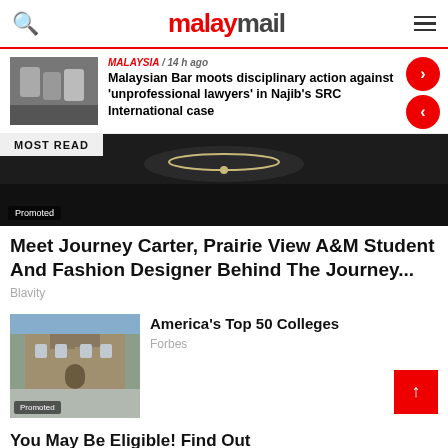malaymail
MALAYSIA / 14 h ago
Malaysian Bar moots disciplinary action against 'unprofessional lawyers' in Najib's SRC International case
[Figure (photo): News thumbnail of group of people]
MOST READ
[Figure (photo): Promoted article image showing close-up of person wearing necklace, dark clothing]
Meet Journey Carter, Prairie View A&M Student And Fashion Designer Behind The Journey...
Blavity
[Figure (photo): Photo of stone college building with towers]
America's Top 50 Colleges
Forbes
You May Be Eligible! Find Out